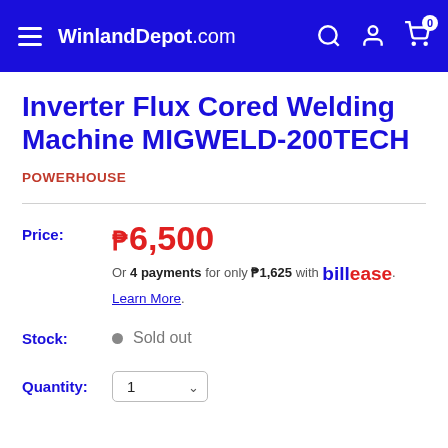WinlandDepot.com
Inverter Flux Cored Welding Machine MIGWELD-200TECH
POWERHOUSE
Price: ₱6,500
Or 4 payments for only ₱1,625 with billease.
Learn More.
Stock: ● Sold out
Quantity: 1